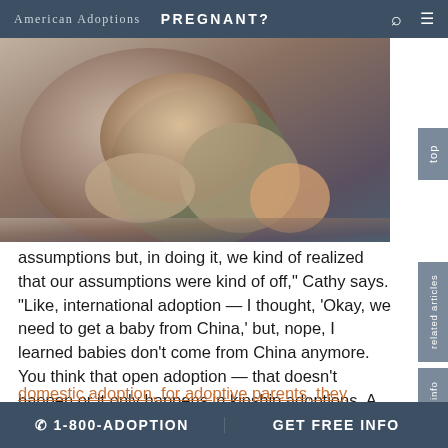American Adoptions   PREGNANT?
[Figure (photo): Photo of a woman holding a baby/child, close-up crop showing laps and arms]
assumptions but, in doing it, we kind of realized that our assumptions were kind of off,” Cathy says. “Like, international adoption — I thought, ‘Okay, we need to get a baby from China,’ but, nope, I learned babies don’t come from China anymore. You think that open adoption — that doesn’t happen or it only happens in kinship adoptions. A lot of our assumptions are dated and misinformed.”
After debating between different kinds of adoption, Cathy and Ray settled on private
☎ 1-800-ADOPTION   GET FREE INFO